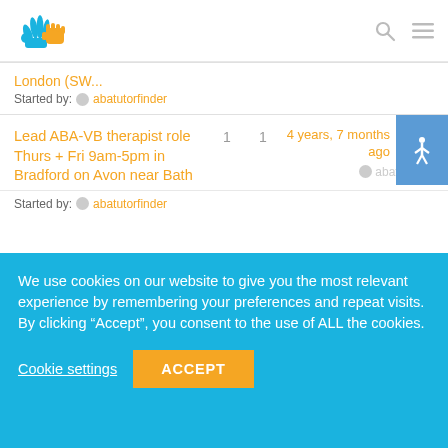[Figure (logo): ABA Tutor Finder logo with colorful hand icons]
London (SW...
Started by: abatutorfinder
Lead ABA-VB therapist role Thurs + Fri 9am-5pm in Bradford on Avon near Bath
1   1   4 years, 7 months ago   abatutorfind...
Started by: abatutorfinder
We use cookies on our website to give you the most relevant experience by remembering your preferences and repeat visits. By clicking “Accept”, you consent to the use of ALL the cookies.
Cookie settings
ACCEPT